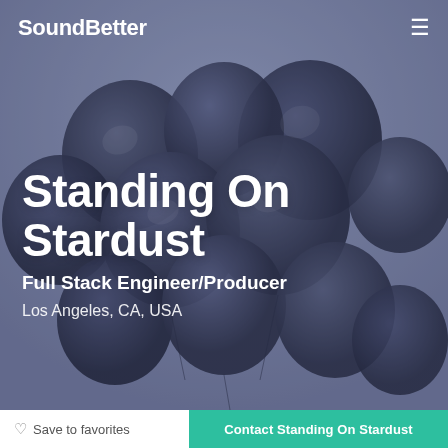SoundBetter
[Figure (photo): Dark navy/black balloons clustered together against a grey-blue sky background, desaturated monochrome style]
Standing On Stardust
Full Stack Engineer/Producer
Los Angeles, CA, USA
Save to favorites
Contact Standing On Stardust